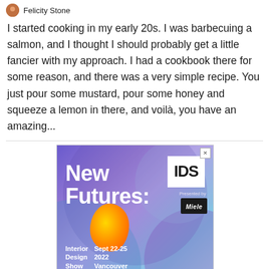Felicity Stone
I started cooking in my early 20s. I was barbecuing a salmon, and I thought I should probably get a little fancier with my approach. I had a cookbook there for some reason, and there was a very simple recipe. You just pour some mustard, pour some honey and squeeze a lemon in there, and voilà, you have an amazing...
[Figure (illustration): Advertisement for Interior Design Show (IDS) New Futures, presented by Miele, Sept 22-25 2022 Vancouver. Features colorful abstract background with purple, blue tones and an orange blob shape. IDS logo in white box top right, Miele logo in black box.]